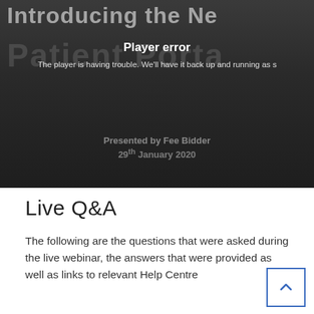[Figure (screenshot): Video player showing a 'Player error' message over a dark background with partially visible text 'Introducing the ne...' at top, 'Patient Porta...' as background text, and 'Presented by Fee Bidder, 29th January 2020' at bottom. The player shows error: 'The player is having trouble. We'll have it back up and running as s...']
Live Q&A
The following are the questions that were asked during the live webinar, the answers that were provided as well as links to relevant Help Centre